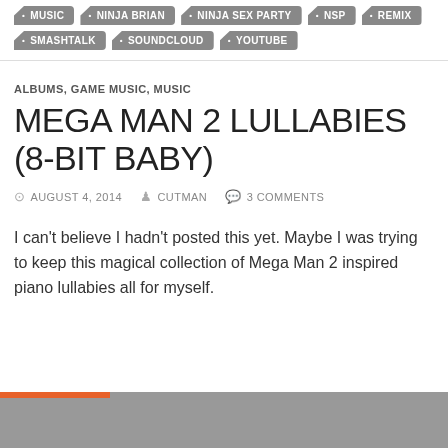MUSIC
NINJA BRIAN
NINJA SEX PARTY
NSP
REMIX
SMASHTALK
SOUNDCLOUD
YOUTUBE
ALBUMS, GAME MUSIC, MUSIC
MEGA MAN 2 LULLABIES (8-BIT BABY)
AUGUST 4, 2014  CUTMAN  3 COMMENTS
I can't believe I hadn't posted this yet. Maybe I was trying to keep this magical collection of Mega Man 2 inspired piano lullabies all for myself.
[Figure (other): Media player block with orange progress bar at top and gray background]